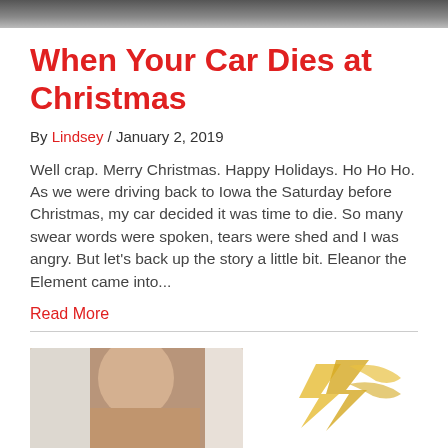[Figure (photo): Top banner image of people, partially cropped]
When Your Car Dies at Christmas
By Lindsey / January 2, 2019
Well crap.  Merry Christmas.  Happy Holidays.  Ho Ho Ho. As we were driving back to Iowa the Saturday before Christmas, my car decided it was time to die. So many swear words were spoken, tears were shed and I was angry.  But let's back up the story a little bit.  Eleanor the Element came into...
Read More
[Figure (photo): Portrait photo of a person with dark hair]
[Figure (logo): Mind Muscle and Movement logo with yellow lightning bolt graphic]